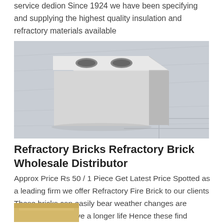service dedion Since 1924 we have been specifying and supplying the highest quality insulation and refractory materials available
[Figure (photo): A white refractory brick with two circular holes on top, photographed against a plastic-wrapped background.]
Refractory Bricks Refractory Brick Wholesale Distributor
Approx Price Rs 50 / 1 Piece Get Latest Price Spotted as a leading firm we offer Refractory Fire Brick to our clients These bricks can easily bear weather changes are lightweight and have a longer life Hence these find extensive usage in lining furnaces kilns fireboxes and fireplaces and are much appreciated for its quality and function
[Figure (photo): Partial view of another refractory product at the bottom of the page, yellowish/tan colored material.]